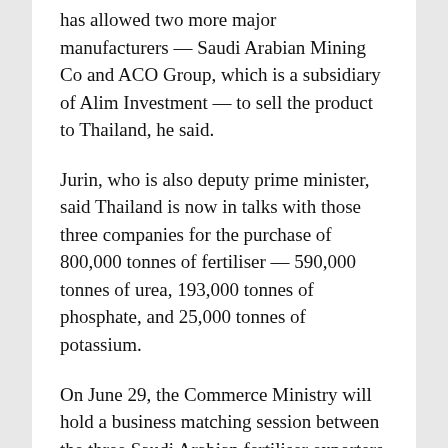has allowed two more major manufacturers — Saudi Arabian Mining Co and ACO Group, which is a subsidiary of Alim Investment — to sell the product to Thailand, he said.
Jurin, who is also deputy prime minister, said Thailand is now in talks with those three companies for the purchase of 800,000 tonnes of fertiliser — 590,000 tonnes of urea, 193,000 tonnes of phosphate, and 25,000 tonnes of potassium.
On June 29, the Commerce Ministry will hold a business matching session between the three Saudi Arabian fertiliser exporters and Thai importers, Jurin said.
He added that the purchase would help Thailand boost its supply of fertiliser for the farming sector. He expected the Kingdom’s improved ties with Saudi Arabia to lead to a “special price”, although